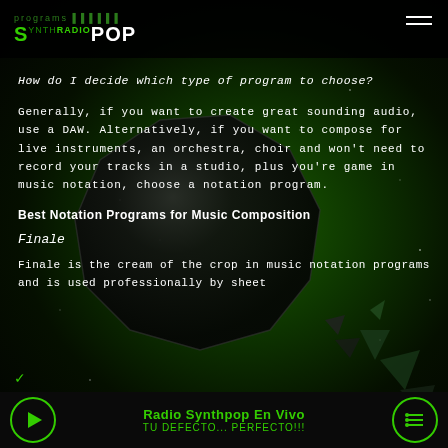programs | Synth Radio POP
How do I decide which type of program to choose?
Generally, if you want to create great sounding audio, use a DAW. Alternatively, if you want to compose for live instruments, an orchestra, choir and won't need to record your tracks in a studio, plus you're game in music notation, choose a notation program.
Best Notation Programs for Music Composition
Finale
Finale is the cream of the crop in music notation programs and is used professionally by sheet
Radio Synthpop En Vivo — TU DEFECTO... PERFECTO!!!